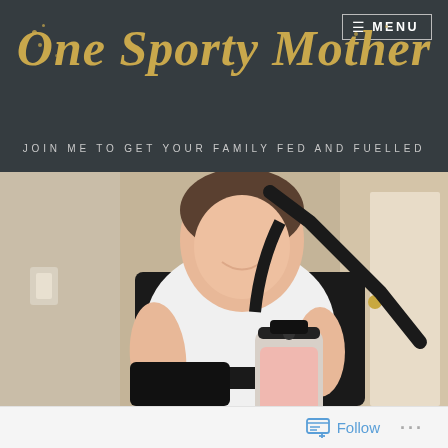One Sporty Mother — JOIN ME TO GET YOUR FAMILY FED AND FUELLED
[Figure (photo): Person in white and black athletic t-shirt holding a protein shake bottle and carrying a gym bag, standing near a door]
Follow ...